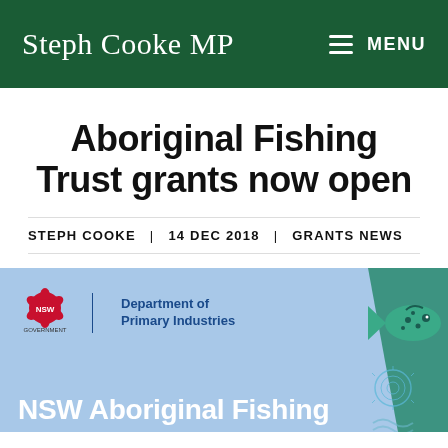Steph Cooke MP | MENU
Aboriginal Fishing Trust grants now open
STEPH COOKE | 14 DEC 2018 | GRANTS NEWS
[Figure (infographic): NSW Government Department of Primary Industries banner with Aboriginal fish artwork on the right side. Bottom text reads: NSW Aboriginal Fishing]